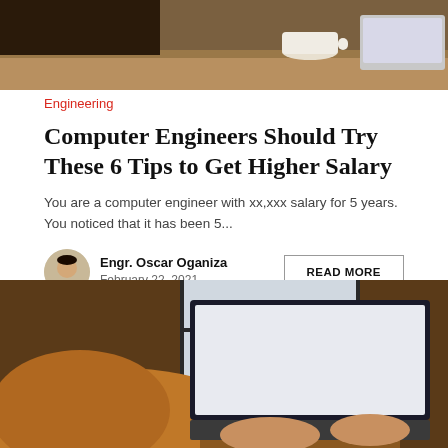[Figure (photo): Top portion of a person sitting at a desk with coffee and a laptop]
Engineering
Computer Engineers Should Try These 6 Tips to Get Higher Salary
You are a computer engineer with xx,xxx salary for 5 years. You noticed that it has been 5...
[Figure (photo): Small circular avatar photo of Engr. Oscar Oganiza]
Engr. Oscar Oganiza
February 22, 2021
READ MORE
[Figure (photo): Bottom portion showing a person in a tan sweater typing on a laptop]